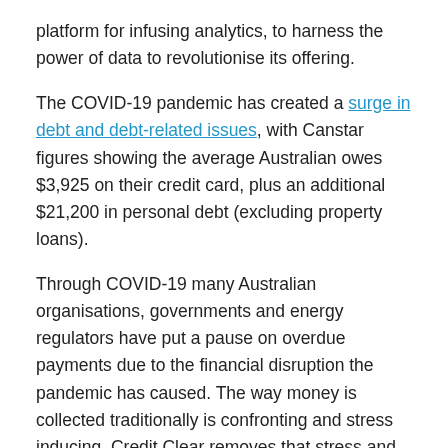platform for infusing analytics, to harness the power of data to revolutionise its offering.
The COVID-19 pandemic has created a surge in debt and debt-related issues, with Canstar figures showing the average Australian owes $3,925 on their credit card, plus an additional $21,200 in personal debt (excluding property loans).
Through COVID-19 many Australian organisations, governments and energy regulators have put a pause on overdue payments due to the financial disruption the pandemic has caused. The way money is collected traditionally is confronting and stress inducing, Credit Clear removes that stress and creates a better experience for the customer through a digital route giving them the power to pay as they go.
Lewis Romano, Founder and Executive Director of Credit Clear said, “It’s less threatening, customers prefer to engage on their bills in a digital way, rather than receiving mountains of paper.
“All of our clients, typically large enterprises with tens of thousands of